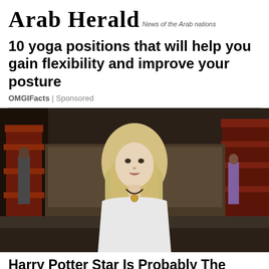Arab Herald — News of the Arab nations
10 yoga positions that will help you gain flexibility and improve your posture
OMGIFacts | Sponsored
[Figure (photo): A young blonde woman with long straight hair standing outdoors near traditional red wooden architecture, wearing a white top and necklace]
Harry Potter Star Is Probably The Prettiest